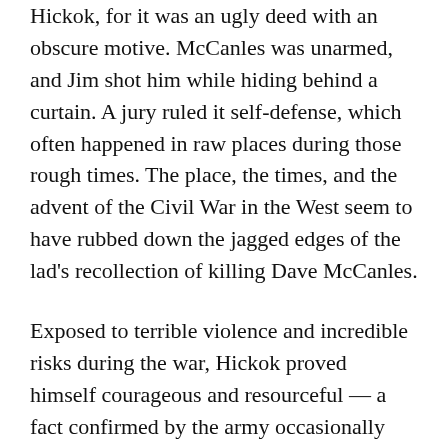Hickok, for it was an ugly deed with an obscure motive. McCanles was unarmed, and Jim shot him while hiding behind a curtain. A jury ruled it self-defense, which often happened in raw places during those rough times. The place, the times, and the advent of the Civil War in the West seem to have rubbed down the jagged edges of the lad's recollection of killing Dave McCanles.
Exposed to terrible violence and incredible risks during the war, Hickok proved himself courageous and resourceful — a fact confirmed by the army occasionally employing him as a scout during Indian campaigns — but the war changed him. Life was cheaper, his included, and he blithely risked it in the gunfight with Davis Tutt over a gold Waltham timepiece. Just days later, he bragged about killing Tutt and, incredibly, invented a fantastic tale about killing Dave McCanles at Rock Creek four years earlier. His listener was George Ward Nichols, a writer for Harper's Monthly Magazine.